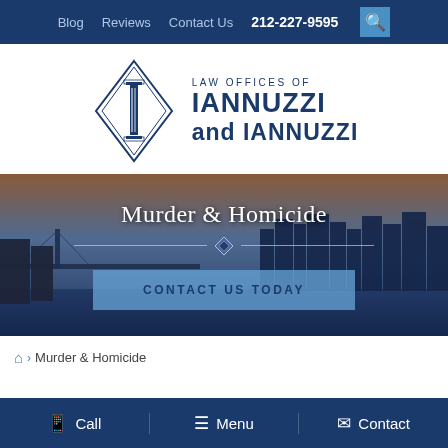Blog   Reviews   Contact Us   212-227-9595
[Figure (logo): Law Offices of Iannuzzi and Iannuzzi logo with diamond shape and ornate letter I]
Murder & Homicide
CONTACT US TODAY
Home > Murder & Homicide
Call   Menu   Contact